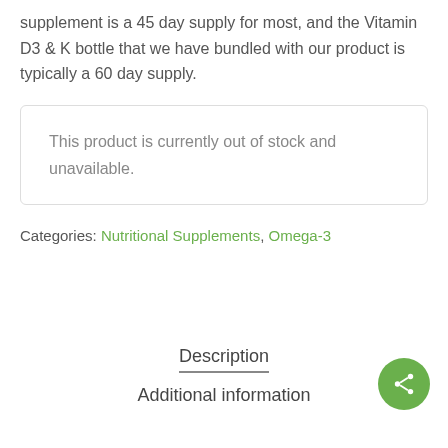supplement is a 45 day supply for most, and the Vitamin D3 & K bottle that we have bundled with our product is typically a 60 day supply.
This product is currently out of stock and unavailable.
Categories: Nutritional Supplements, Omega-3
Description
Additional information